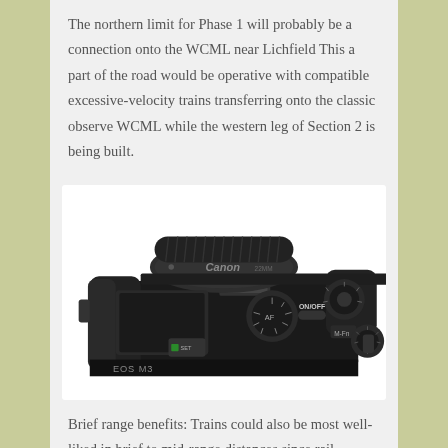The northern limit for Phase 1 will probably be a connection onto the WCML near Lichfield This a part of the road would be operative with compatible excessive-velocity trains transferring onto the classic observe WCML while the western leg of Section 2 is being built.
[Figure (photo): Top-down view of a Canon EOS M3 mirrorless camera in black, showing the lens, mode dial, ON/OFF switch, and hot shoe mount.]
Brief range benefits: Trains could also be most well-liked in brief to mid-range distances since rail stations are typically